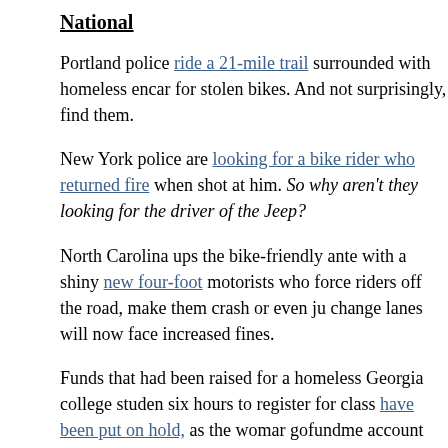National
Portland police ride a 21-mile trail surrounded with homeless encampments for stolen bikes. And not surprisingly, find them.
New York police are looking for a bike rider who returned fire when a Jeep shot at him. So why aren't they looking for the driver of the Jeep?
North Carolina ups the bike-friendly ante with a shiny new four-foot motorists who force riders off the road, make them crash or even just change lanes will now face increased fines.
Funds that had been raised for a homeless Georgia college student who sat six hours to register for class have been put on hold, as the woman who set up gofundme account has concerns about his story.
-
International
So much for that famed Canadian politeness. A bike rider is the subject after a driver and his passengers get out of their car and tell him to however, he reports an outpouring of support after the story went p